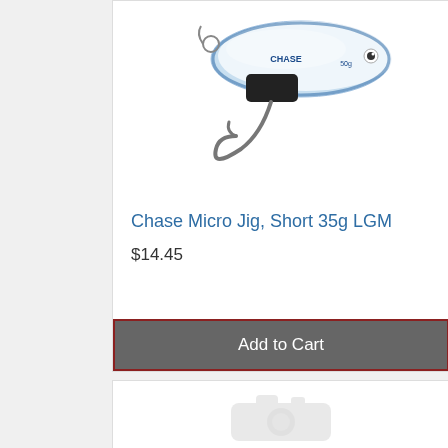[Figure (photo): Photo of Chase Micro Jig fishing lure - a silver/blue metallic jig with a single black hook, white and blue coloring with Chase branding visible]
Chase Micro Jig, Short 35g LGM
$14.45
Add to Cart
[Figure (photo): Product image placeholder showing a camera icon silhouette on white background]